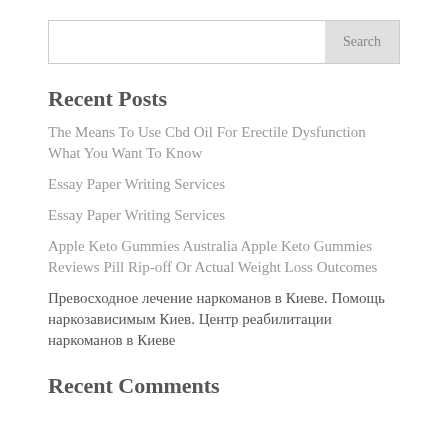Search
Recent Posts
The Means To Use Cbd Oil For Erectile Dysfunction What You Want To Know
Essay Paper Writing Services
Essay Paper Writing Services
Apple Keto Gummies Australia Apple Keto Gummies Reviews Pill Rip-off Or Actual Weight Loss Outcomes
Превосходное лечение наркоманов в Киеве. Помощь наркозависимым Киев. Центр реабилитации наркоманов в Киеве
Recent Comments